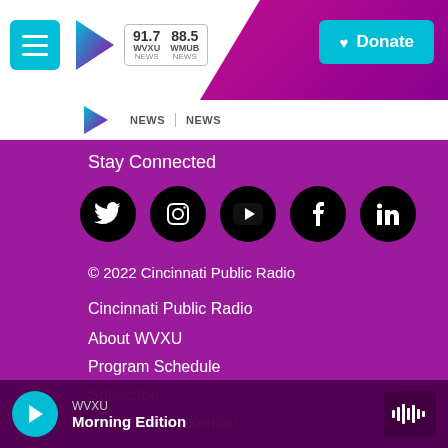WVXU 91.7 NEWS | WMUB 88.5 NEWS — Donate
NEWS | NEWS
Stay Connected
[Figure (other): Social media icons row: Twitter, Instagram, YouTube, Facebook, LinkedIn — black circles on purple background]
© 2022 Cincinnati Public Radio
Cincinnati Public Radio
About WVXU
Program Schedule
Subscribe
Community Calendar
WVXU — Morning Edition